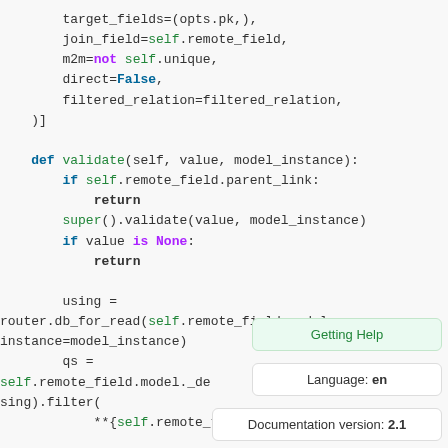Code snippet showing Python class method definitions including validate() with if self.remote_field.parent_link, return, super().validate(), if value is None, return, using = router.db_for_read(...), qs = self.remote_field.model._de...sing).filter(**{self.remote_field.field_name:
Getting Help
Language: en
Documentation version: 2.1